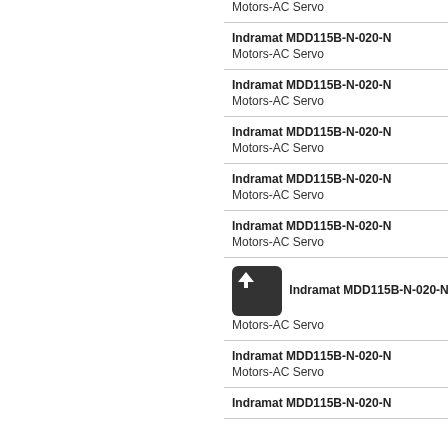Motors-AC Servo
Indramat MDD115B-N-020-N
Motors-AC Servo
Indramat MDD115B-N-020-N
Motors-AC Servo
Indramat MDD115B-N-020-N
Motors-AC Servo
Indramat MDD115B-N-020-N
Motors-AC Servo
Indramat MDD115B-N-020-N
Motors-AC Servo
Indramat MDD115B-N-020-N
Motors-AC Servo
Indramat MDD115B-N-020-N
Motors-AC Servo
Indramat MDD115B-N-020-N